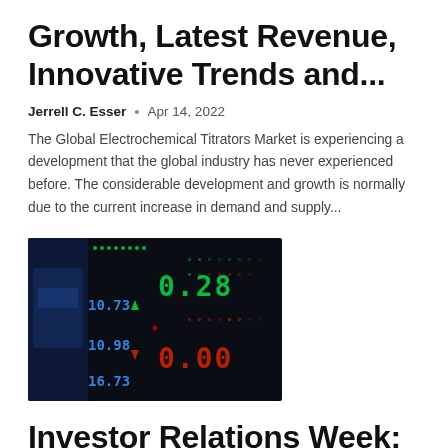Growth, Latest Revenue, Innovative Trends and...
Jerrell C. Esser  •  Apr 14, 2022
The Global Electrochemical Titrators Market is experiencing a development that the global industry has never experienced before. The considerable development and growth is normally due to the current increase in demand and supply...
[Figure (photo): Stock market ticker board displaying green and red LED numbers including values like 0.28, 10.73, 10.98, 16.73, 0.00 against a dark background]
Investor Relations Week: Potential profit in Russia's ADR